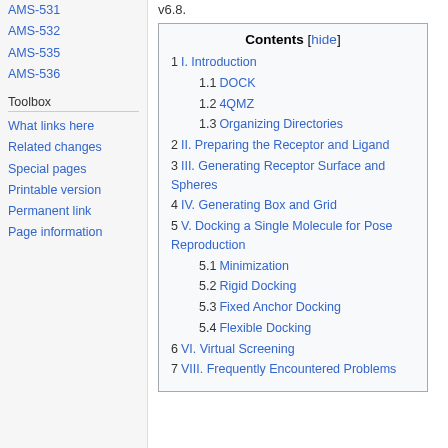AMS-531
AMS-532
AMS-535
AMS-536
Toolbox
What links here
Related changes
Special pages
Printable version
Permanent link
Page information
v6.8.
| Contents [hide] |
| --- |
| 1 I. Introduction |
| 1.1 DOCK |
| 1.2 4QMZ |
| 1.3 Organizing Directories |
| 2 II. Preparing the Receptor and Ligand |
| 3 III. Generating Receptor Surface and Spheres |
| 4 IV. Generating Box and Grid |
| 5 V. Docking a Single Molecule for Pose Reproduction |
| 5.1 Minimization |
| 5.2 Rigid Docking |
| 5.3 Fixed Anchor Docking |
| 5.4 Flexible Docking |
| 6 VI. Virtual Screening |
| 7 VIII. Frequently Encountered Problems |